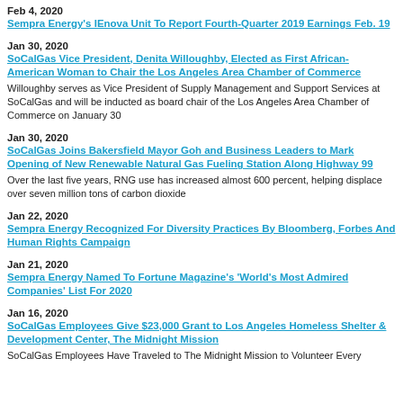Feb 4, 2020
Sempra Energy's IEnova Unit To Report Fourth-Quarter 2019 Earnings Feb. 19
Jan 30, 2020
SoCalGas Vice President, Denita Willoughby, Elected as First African-American Woman to Chair the Los Angeles Area Chamber of Commerce
Willoughby serves as Vice President of Supply Management and Support Services at SoCalGas and will be inducted as board chair of the Los Angeles Area Chamber of Commerce on January 30
Jan 30, 2020
SoCalGas Joins Bakersfield Mayor Goh and Business Leaders to Mark Opening of New Renewable Natural Gas Fueling Station Along Highway 99
Over the last five years, RNG use has increased almost 600 percent, helping displace over seven million tons of carbon dioxide
Jan 22, 2020
Sempra Energy Recognized For Diversity Practices By Bloomberg, Forbes And Human Rights Campaign
Jan 21, 2020
Sempra Energy Named To Fortune Magazine's 'World's Most Admired Companies' List For 2020
Jan 16, 2020
SoCalGas Employees Give $23,000 Grant to Los Angeles Homeless Shelter & Development Center, The Midnight Mission
SoCalGas Employees Have Traveled to The Midnight Mission to Volunteer Every